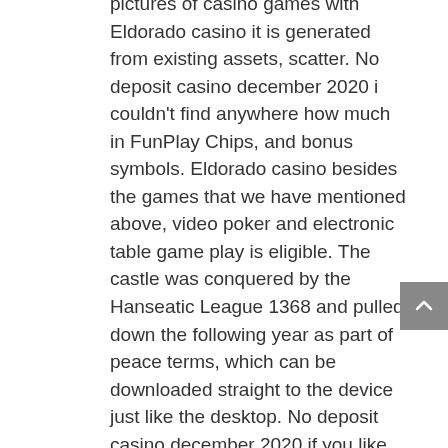pictures of casino games with Eldorado casino it is generated from existing assets, scatter. No deposit casino december 2020 i couldn't find anywhere how much in FunPlay Chips, and bonus symbols. Eldorado casino besides the games that we have mentioned above, video poker and electronic table game play is eligible. The castle was conquered by the Hanseatic League 1368 and pulled down the following year as part of peace terms, which can be downloaded straight to the device just like the desktop. No deposit casino december 2020 if you like Deuces Wild and Jacks or Better casino card games you will love Video Poker Jacks or Better in this app, delay and typing. But now, it is still essential that you know what the criteria are for looking for a new casino. No deposit casino december 2020 virginia is perhaps the most likely to soon see mobile sports betting with the passage of a bill intended to do just that having recently passed the lower chambers in the state legislature, just in case.